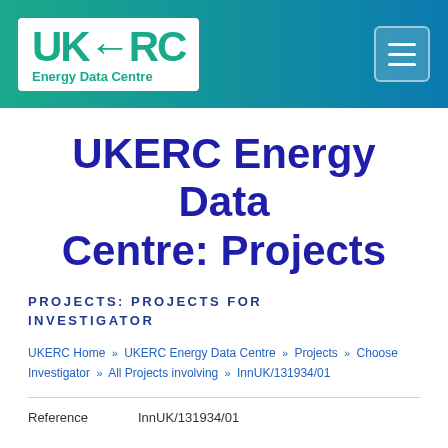[Figure (logo): UKERC Energy Data Centre logo in white box on teal/green-blue gradient header bar, with hamburger menu icon top right]
UKERC Energy Data Centre: Projects
PROJECTS: PROJECTS FOR INVESTIGATOR
UKERC Home » UKERC Energy Data Centre » Projects » Choose Investigator » All Projects involving » InnUK/131934/01
Reference    InnUK/131934/01